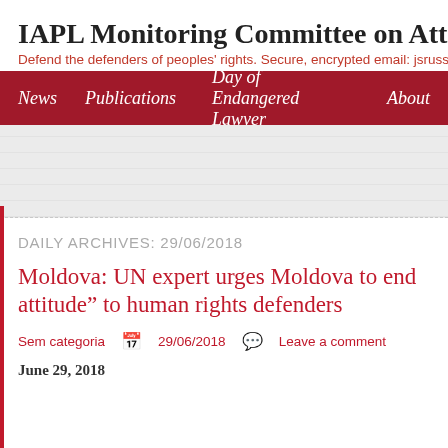IAPL Monitoring Committee on Attacks o
Defend the defenders of peoples' rights. Secure, encrypted email: jsrussell
News   Publications   Day of Endangered Lawyer   About
DAILY ARCHIVES: 29/06/2018
Moldova: UN expert urges Moldova to end attitude" to human rights defenders
Sem categoria   29/06/2018   Leave a comment
June 29, 2018